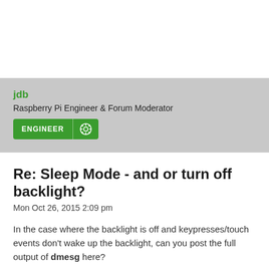jdb
Raspberry Pi Engineer & Forum Moderator
ENGINEER
Re: Sleep Mode - and or turn off backlight?
Mon Oct 26, 2015 2:09 pm
In the case where the backlight is off and keypresses/touch events don't wake up the backlight, can you post the full output of dmesg here?
Rockets are loud.
https://astro-pi.org